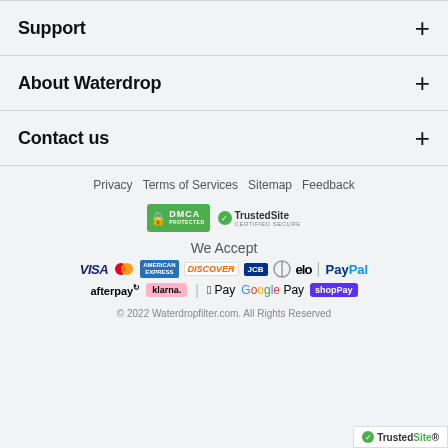Support
About Waterdrop
Contact us
Privacy
Terms of Services
Sitemap
Feedback
[Figure (logo): DMCA Protected badge and TrustedSite Certified Secure badge]
We Accept
[Figure (logo): Payment method logos: VISA, Mastercard, American Express, Discover, JCB, Diners Club, Elo, PayPal, Afterpay, Klarna, Apple Pay, Google Pay, Shop Pay]
© 2022 Waterdropfilter.com. All Rights Reserved
[Figure (logo): TrustedSite badge in bottom right corner]